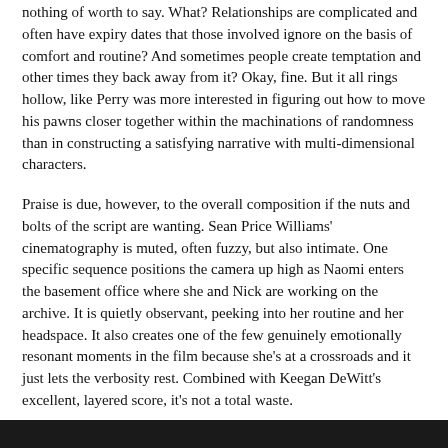nothing of worth to say. What? Relationships are complicated and often have expiry dates that those involved ignore on the basis of comfort and routine? And sometimes people create temptation and other times they back away from it? Okay, fine. But it all rings hollow, like Perry was more interested in figuring out how to move his pawns closer together within the machinations of randomness than in constructing a satisfying narrative with multi-dimensional characters.
Praise is due, however, to the overall composition if the nuts and bolts of the script are wanting. Sean Price Williams' cinematography is muted, often fuzzy, but also intimate. One specific sequence positions the camera up high as Naomi enters the basement office where she and Nick are working on the archive. It is quietly observant, peeking into her routine and her headspace. It also creates one of the few genuinely emotionally resonant moments in the film because she's at a crossroads and it just lets the verbosity rest. Combined with Keegan DeWitt's excellent, layered score, it's not a total waste.
Perry is capable of great films, even those focusing on reprehensible narcissists, but Golden Exits wallows far too much in its own seriousness and the problems that just don't feel important enough to warrant the attention given. Maybe if the able cast were given characters with depth – and maybe if it didn't feel like low-rent Woody Allen, anyway – it would have been something worthwhile.